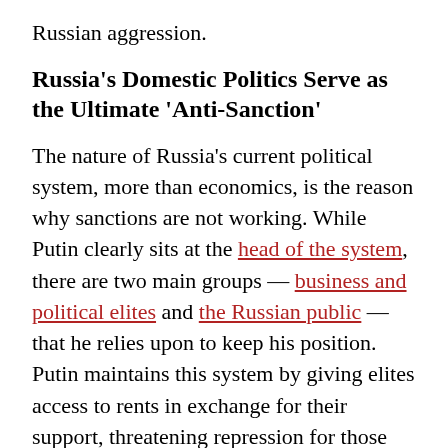Russian aggression.
Russia's Domestic Politics Serve as the Ultimate 'Anti-Sanction'
The nature of Russia's current political system, more than economics, is the reason why sanctions are not working. While Putin clearly sits at the head of the system, there are two main groups — business and political elites and the Russian public — that he relies upon to keep his position. Putin maintains this system by giving elites access to rents in exchange for their support, threatening repression for those who step out of line, and